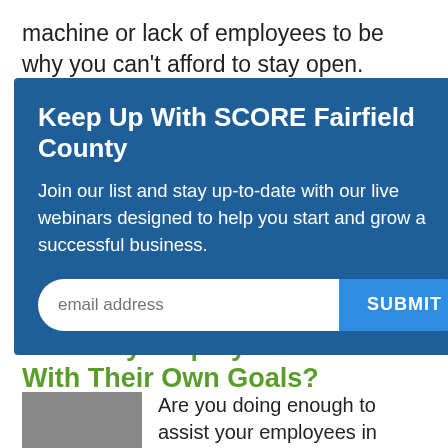machine or lack of employees to be why you can't afford to stay open.
Many of the businesses I work with could have had less urgency to their financial worries if they had
[Figure (screenshot): Modal popup overlay: 'Keep Up With SCORE Fairfield County' with email list signup form and SUBMIT button on blue background]
8. Are My Employees On Track With Their Own Goals?
[Figure (photo): Partial photo of a person's head/hair at bottom left]
Are you doing enough to assist your employees in reaching their year